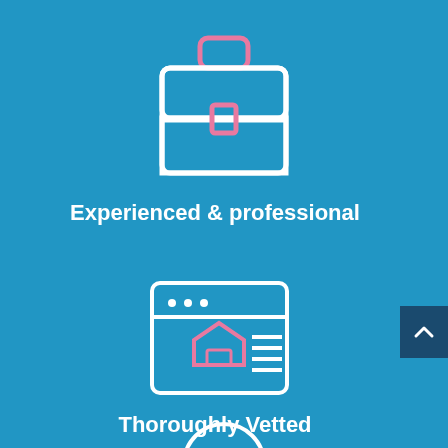[Figure (illustration): Briefcase icon outline in white with pink handle and pink center clasp on blue background]
Experienced & professional
[Figure (illustration): Browser/webpage icon outline in white with pink house icon and horizontal lines on blue background]
Thoroughly Vetted
[Figure (illustration): Partial circular icon at bottom of page, white outline on blue background]